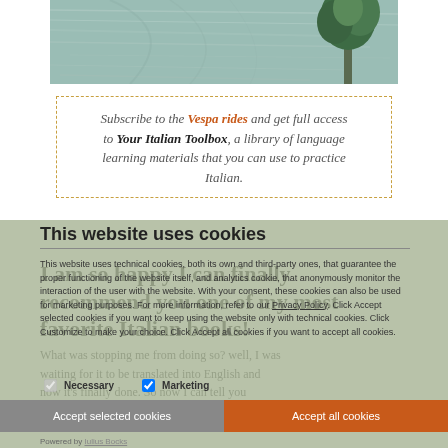[Figure (photo): Top photo of a tree by a lake or water surface with textured ripple pattern, teal/grey-green tones]
Subscribe to the Vespa rides and get full access to Your Italian Toolbox, a library of language learning materials that you can use to practice Italian.
This website uses cookies
This website uses technical cookies, both its own and third-party ones, that guarantee the proper functioning of the website itself, and analytics cookie, that anonymously monitor the interaction of the user with the website. With your consent, these cookies can also be used for marketing purposes. For more information, refer to our Privacy Policy. Click Accept selected cookies if you want to keep using the website only with technical cookies. Click Customize to make your choice. Click Accept all cookies if you want to accept all cookies.
I am so happy I can finally recommend you one of my most favorite Italian books!
What was stopping me from doing so? well, I was waiting for it to be translated into English and now it's finally done. So now I can tell you
Powered by Iulius Bocks